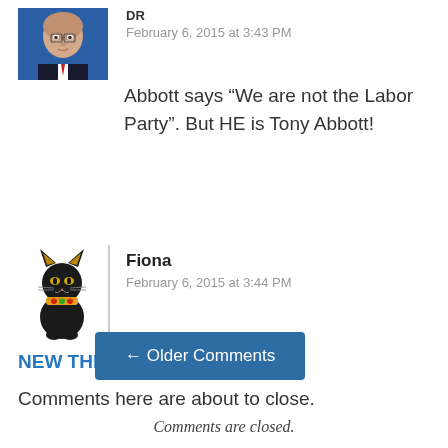[Figure (photo): Profile photo of a man in a dark suit, older, bald, against a blue background]
DR
February 6, 2015 at 3:43 PM
Abbott says “We are not the Labor Party”. But HE is Tony Abbott!
[Figure (illustration): Egyptian cat illustration (Bastet-style black cat with colorful collar)]
Fiona
February 6, 2015 at 3:44 PM
NEW THREAD
Comments here are about to close.
← Older Comments
Comments are closed.